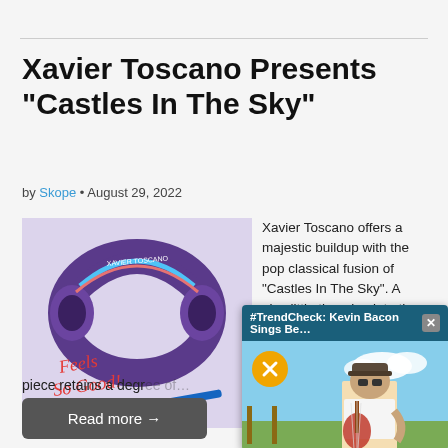Xavier Toscano Presents “Castles In The Sky”
by Skope • August 29, 2022
[Figure (photo): Purple headphones with Xavier Toscano branding, lying on a surface with cursive text reading 'Feels So Good!' and a blue pen]
Xavier Toscano offers a majestic buildup with the pop classical fusion of “Castles In The Sky”. A nice little throwback to the
piece retains a degr… entirety of the journ…
Read more →
[Figure (screenshot): Video popup overlay titled '#TrendCheck: Kevin Bacon Sings Be...' showing a person sitting outdoors playing a guitar, with a yellow mute button and a close (X) button]